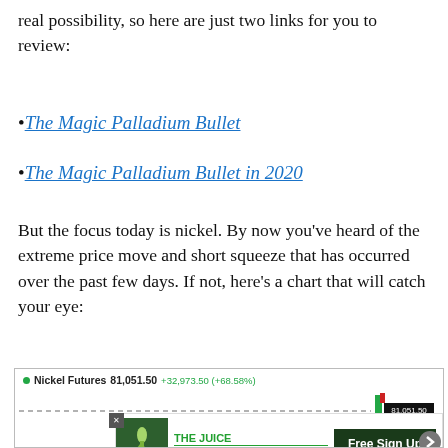real possibility, so here are just two links for you to review:
The Magic Palladium Bullet
The Magic Palladium Bullet in 2020
But the focus today is nickel. By now you've heard of the extreme price move and short squeeze that has occurred over the past few days. If not, here's a chart that will catch your eye:
[Figure (continuous-plot): Nickel Futures price chart showing a dramatic spike. Chart header reads: Nickel Futures ● 81,051.50 +32,973.50 (+68.58%). A dashed horizontal reference line runs across most of the chart. A candlestick near the right edge shows the spike. A black label reads 81,051.50 at the spike level. Y-axis shows 70,000. An advertisement overlay for 'The Juice Newsletter' with 'Free Sign Up' button partially covers the lower portion of the chart.]